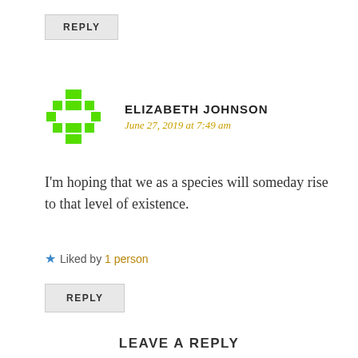REPLY
ELIZABETH JOHNSON
June 27, 2019 at 7:49 am
I'm hoping that we as a species will someday rise to that level of existence.
★ Liked by 1 person
REPLY
LEAVE A REPLY